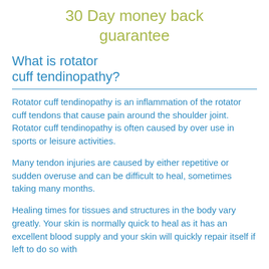30 Day money back guarantee
What is rotator cuff tendinopathy?
Rotator cuff tendinopathy is an inflammation of the rotator cuff tendons that cause pain around the shoulder joint. Rotator cuff tendinopathy is often caused by over use in sports or leisure activities.
Many tendon injuries are caused by either repetitive or sudden overuse and can be difficult to heal, sometimes taking many months.
Healing times for tissues and structures in the body vary greatly. Your skin is normally quick to heal as it has an excellent blood supply and your skin will quickly repair itself if left to do so with